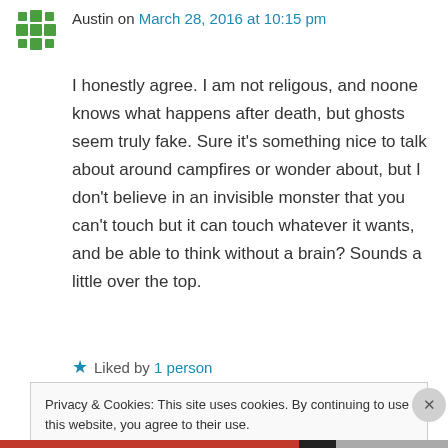[Figure (illustration): Green decorative avatar icon with cross/snowflake pattern]
Austin on March 28, 2016 at 10:15 pm
I honestly agree. I am not religous, and noone knows what happens after death, but ghosts seem truly fake. Sure it's something nice to talk about around campfires or wonder about, but I don't believe in an invisible monster that you can't touch but it can touch whatever it wants, and be able to think without a brain? Sounds a little over the top.
★ Liked by 1 person
Privacy & Cookies: This site uses cookies. By continuing to use this website, you agree to their use.
To find out more, including how to control cookies, see here: Cookie Policy
Close and accept